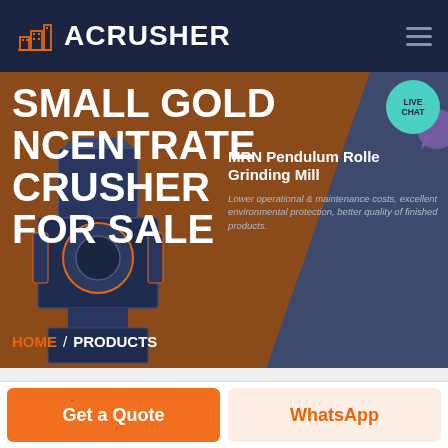ACRUSHER
[Figure (screenshot): ACRUSHER website hero section showing a crusher machine with title SMALL GOLD NCENTRATE CRUSHER FOR SALE, breadcrumb HOME / PRODUCTS, and a sidebar card for MRN Pendulum Roller Grinding Mill]
SMALL GOLD NCENTRATE CRUSHER FOR SALE
MRN Pendulum Roller Grinding Mill
Lower operational & maintenance costs, excellent environmental protection, better quality of finished products.
HOME / PRODUCTS
Get a Quote
WhatsApp